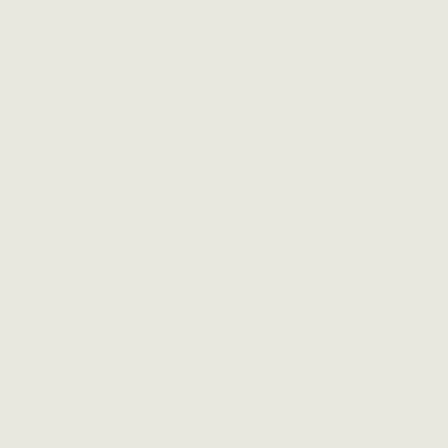Running against the pro-choice Jerry Brown, Whitman needs Democratic women voters to her side, much as Wilson pulled women away from Wilson in 1994. The question is whether Whitman's gender could help her among women who agree with her Democratic positions on other issues.
The single greatest uncertainty in the governor's race isn't gender or party, but of money. Said So... personal fortune she may spend: "The... $150 million."
Tags: Bill Carrick, campaign spending, ... Times, Los Angeles Times, mama griz... women voters
Posted in California Governor's Race, ... Fiorina, Meg Whitman | No Comments...
A Year Out, Gov's Ra... Candidate
Tuesday, November 3rd, 2009
One year before the 2010 election, Ga... withdrawal from the governor's race le... without a candidate conveying the mes... with California's zeitgeist of the mome... sweeping reform.
With Attorney General Jerry Brown the... undeclared) Democratic candidate, an... of former eBay CEO Meg Whitman...